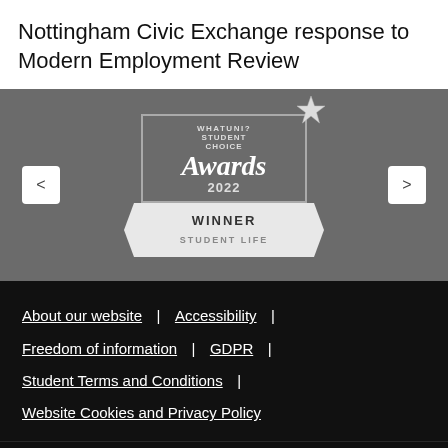Nottingham Civic Exchange response to Modern Employment Review
[Figure (logo): WhatUni? Student Choice Awards 2022 Winner Student Life logo/badge on grey background with navigation arrows]
About our website | Accessibility | Freedom of information | GDPR | Student Terms and Conditions | Website Cookies and Privacy Policy
© Nottingham Trent University
Also in this section